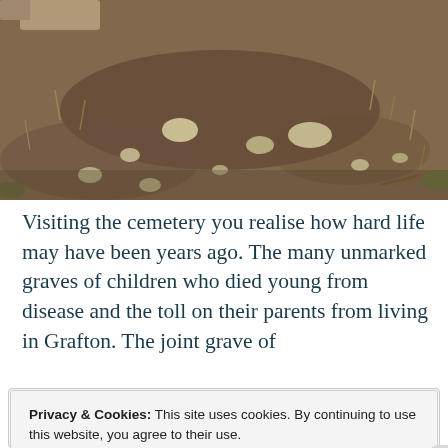[Figure (photo): Close-up photo of a cemetery ground showing bare dirt/soil with scattered small white stones or pebbles, dry grass, and a stone marker partially visible at top left corner.]
Visiting the cemetery you realise how hard life may have been years ago. The many unmarked graves of children who died young from disease and the toll on their parents from living in Grafton. The joint grave of
Privacy & Cookies: This site uses cookies. By continuing to use this website, you agree to their use.
To find out more, including how to control cookies, see here:
Our Cookie Policy
Close and accept